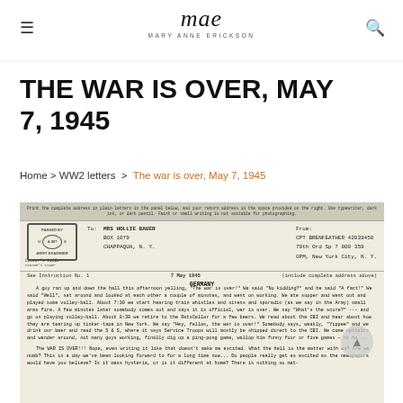mae MARY ANNE ERICKSON
THE WAR IS OVER, MAY 7, 1945
Home > WW2 letters > The war is over, May 7, 1945
[Figure (photo): Scanned WWII V-mail letter dated 7 May 1945 from Germany, addressed to Mrs Hollie Bauer, Box 1079, Chappaqua, N.Y., with Army Examiner censor stamp. The letter body reads: A guy ran up and down the hall this afternoon yelling, 'The war is over!' We said 'No kidding?' and he said 'A fact!' We said 'Well', sat around and looked at each other a couple of minutes, and went on working...]